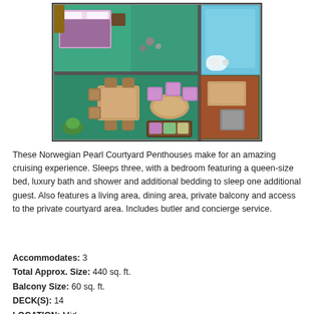[Figure (engineering-diagram): Top-down floor plan illustration of a Norwegian Pearl Courtyard Penthouse cabin, showing bedroom with queen bed, luxury bathroom, living area with sofa, dining area with table and chairs, additional seating, and balcony area. Rendered in colorful 3D perspective from above.]
These Norwegian Pearl Courtyard Penthouses make for an amazing cruising experience. Sleeps three, with a bedroom featuring a queen-size bed, luxury bath and shower and additional bedding to sleep one additional guest. Also features a living area, dining area, private balcony and access to the private courtyard area. Includes butler and concierge service.
Accommodates: 3
Total Approx. Size: 440 sq. ft.
Balcony Size: 60 sq. ft.
DECK(S): 14
LOCATION: Mid